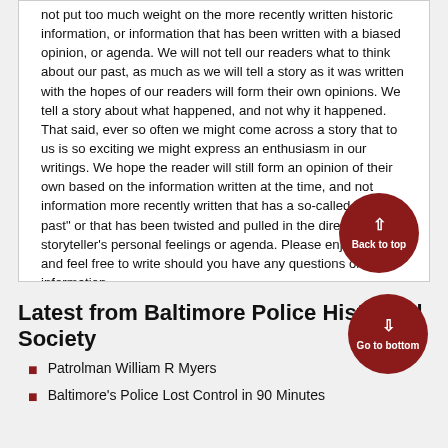not put too much weight on the more recently written historic information, or information that has been written with a biased opinion, or agenda. We will not tell our readers what to think about our past, as much as we will tell a story as it was written with the hopes of our readers will form their own opinions. We tell a story about what happened, and not why it happened. That said, ever so often we might come across a story that to us is so exciting we might express an enthusiasm in our writings. We hope the reader will still form an opinion of their own based on the information written at the time, and not information more recently written that has a so-called "filtered past" or that has been twisted and pulled in the direction of a storyteller's personal feelings or agenda. Please enjoy the site and feel free to write should you have any questions or information.
Latest from Baltimore Police Historical Society
Patrolman William R Myers
Baltimore's Police Lost Control in 90 Minutes